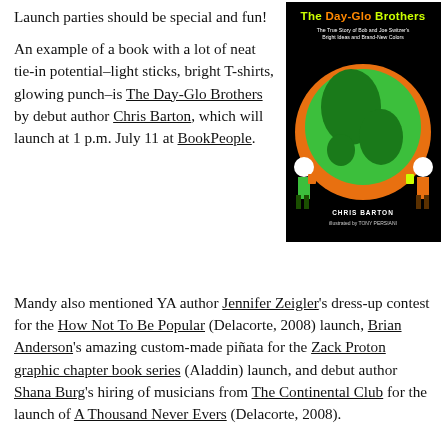Launch parties should be special and fun!
[Figure (photo): Book cover of 'The Day-Glo Brothers: The True Story of Bob and Joe Switzer's Bright Ideas and Brand-New Colors' by Chris Barton, illustrated by Tony Persiani. Black background with bright green and orange illustrated characters painting a globe.]
An example of a book with a lot of neat tie-in potential–light sticks, bright T-shirts, glowing punch–is The Day-Glo Brothers by debut author Chris Barton, which will launch at 1 p.m. July 11 at BookPeople.
Mandy also mentioned YA author Jennifer Zeigler's dress-up contest for the How Not To Be Popular (Delacorte, 2008) launch, Brian Anderson's amazing custom-made piñata for the Zack Proton graphic chapter book series (Aladdin) launch, and debut author Shana Burg's hiring of musicians from The Continental Club for the launch of A Thousand Never Evers (Delacorte, 2008).